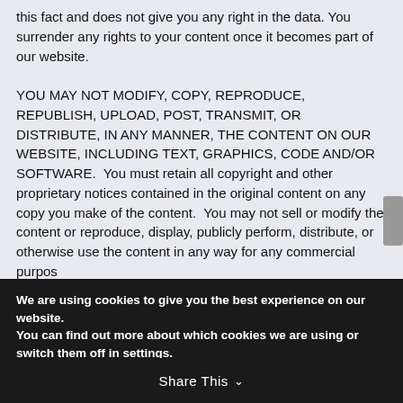this fact and does not give you any right in the data. You surrender any rights to your content once it becomes part of our website.

YOU MAY NOT MODIFY, COPY, REPRODUCE, REPUBLISH, UPLOAD, POST, TRANSMIT, OR DISTRIBUTE, IN ANY MANNER, THE CONTENT ON OUR WEBSITE, INCLUDING TEXT, GRAPHICS, CODE AND/OR SOFTWARE.  You must retain all copyright and other proprietary notices contained in the original content on any copy you make of the content.  You may not sell or modify the content or reproduce, display, publicly perform, distribute, or otherwise use the content in any way for any commercial purpose.
We are using cookies to give you the best experience on our website.
You can find out more about which cookies we are using or switch them off in settings.
Accept
Share This